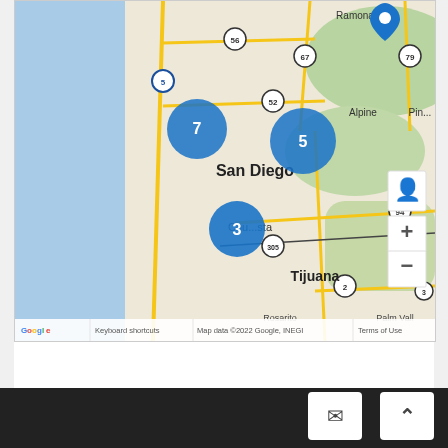[Figure (map): Google Maps screenshot showing the San Diego / Tijuana area with clustered location markers: a cluster of 7 markers in the La Jolla/coastal San Diego area, a cluster of 5 markers in the east San Diego/Alpine area, a cluster of 3 markers in the Chula Vista area, and a single blue pin marker near Ramona. Map controls include a street view person icon, zoom in (+) and zoom out (-) buttons. Map footer shows Google logo, 'Keyboard shortcuts', 'Map data ©2022 Google, INEGI', and 'Terms of Use'.]
Keyboard shortcuts   Map data ©2022 Google, INEGI   Terms of Use